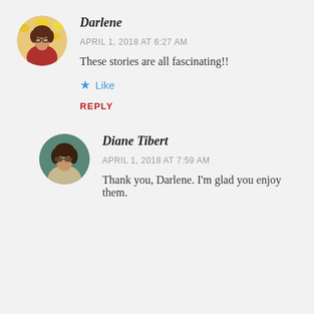[Figure (photo): Circular avatar photo of Darlene, a woman in a red jacket with yellow flowers in background]
Darlene
APRIL 1, 2018 AT 6:27 AM
These stories are all fascinating!!
★ Like
REPLY
[Figure (photo): Circular avatar photo of Diane Tibert, a woman wearing sunglasses]
Diane Tibert
APRIL 1, 2018 AT 7:59 AM
Thank you, Darlene. I'm glad you enjoy them.